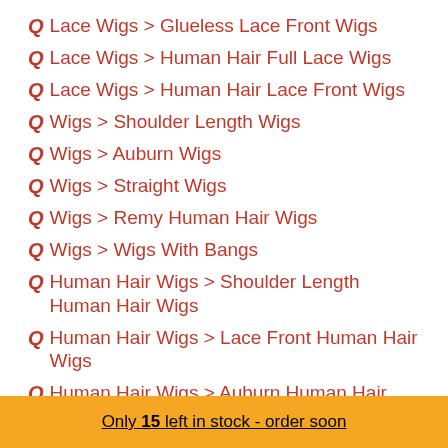Lace Wigs > Glueless Lace Front Wigs
Lace Wigs > Human Hair Full Lace Wigs
Lace Wigs > Human Hair Lace Front Wigs
Wigs > Shoulder Length Wigs
Wigs > Auburn Wigs
Wigs > Straight Wigs
Wigs > Remy Human Hair Wigs
Wigs > Wigs With Bangs
Human Hair Wigs > Shoulder Length Human Hair Wigs
Human Hair Wigs > Lace Front Human Hair Wigs
Human Hair Wigs > Auburn Human Hair Wigs
Only 15 left in stock - order soon